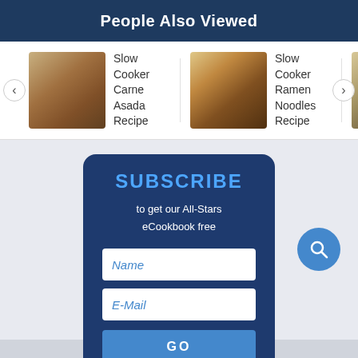People Also Viewed
[Figure (screenshot): Carousel of recipe images: Slow Cooker Carne Asada Recipe, Slow Cooker Ramen Noodles Recipe, Slow Cooker Kung Pao Chicken (partially visible). Navigation arrows on left and right.]
SUBSCRIBE
to get our All-Stars eCookbook free
[Figure (infographic): Subscribe form with Name and E-Mail input fields and a GO button on a dark blue card background]
[Figure (other): Blue circular search button with magnifying glass icon]